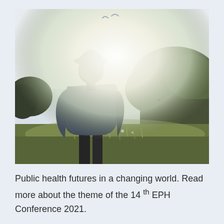[Figure (photo): A person seen from behind, wearing a hat and casual clothing, standing in a sunlit meadow with trees in the background. The sun creates a strong lens flare effect, washing out much of the center of the image with bright white light.]
Public health futures in a changing world. Read more about the theme of the 14 th EPH Conference 2021.